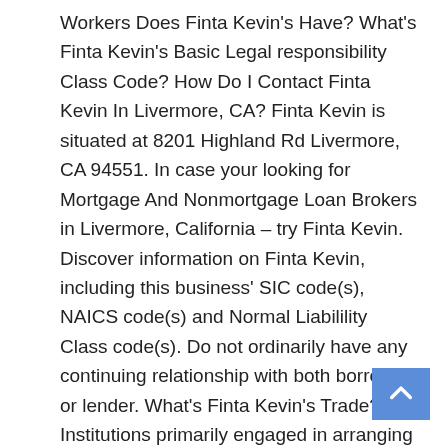Workers Does Finta Kevin's Have? What's Finta Kevin's Basic Legal responsibility Class Code? How Do I Contact Finta Kevin In Livermore, CA? Finta Kevin is situated at 8201 Highland Rd Livermore, CA 94551. In case your looking for Mortgage And Nonmortgage Loan Brokers in Livermore, California – try Finta Kevin. Discover information on Finta Kevin, including this business' SIC code(s), NAICS code(s) and Normal Liabilility Class code(s). Do not ordinarily have any continuing relationship with both borrower or lender. What's Finta Kevin's Trade? Institutions primarily engaged in arranging loans for others. What is Finta Kevin's NAICS Code? How Do I Contact Finta Kevin In Livermore, CA? What is Finta Kevin's NCCI Staff Compensation Class Code? This business contains institutions primarily engaged in arranging loans by bringing borrowers and lenders collectively on a fee or fee basis. What's Finta Kevin's